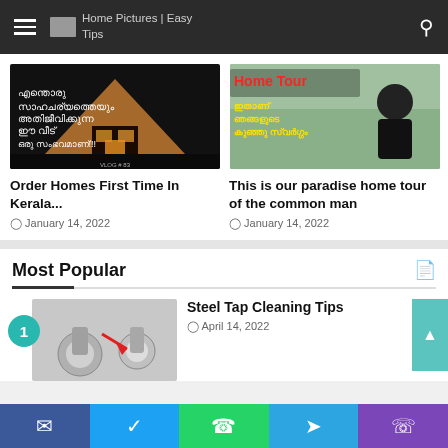Home Pictures | Easy Tips
[Figure (photo): A-frame house at night with warm orange lighting]
Order Homes First Time In Kerala...
January 14, 2022
[Figure (photo): Home Tour - woman in black dress with Malayalam text]
This is our paradise home tour of the common man
January 14, 2022
Most Popular
Steel Tap Cleaning Tips
April 14, 2022